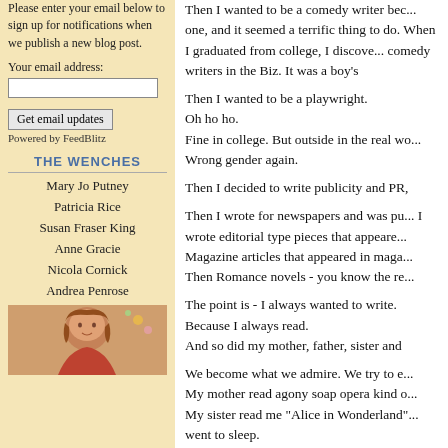Please enter your email below to sign up for notifications when we publish a new blog post.
Your email address:
Get email updates
Powered by FeedBlitz
THE WENCHES
Mary Jo Putney
Patricia Rice
Susan Fraser King
Anne Gracie
Nicola Cornick
Andrea Penrose
[Figure (photo): Photo of a woman with reddish-brown hair against a brick background with flowers]
Then I wanted to be a comedy writer because I knew one, and it seemed a terrific thing to do. When I graduated from college, I discovered there were no comedy writers in the Biz. It was a boy's
Then I wanted to be a playwright.
Oh ho ho.
Fine in college. But outside in the real wo...
Wrong gender again.
Then I decided to write publicity and PR,
Then I wrote for newspapers and was pu... I wrote editorial type pieces that appeare... Magazine articles that appeared in maga... Then Romance novels - you know the re...
The point is - I always wanted to write.
Because I always read.
And so did my mother, father, sister and
We become what we admire. We try to e... My mother read agony soap opera kind o... My sister read me "Alice in Wonderland"... went to sleep.